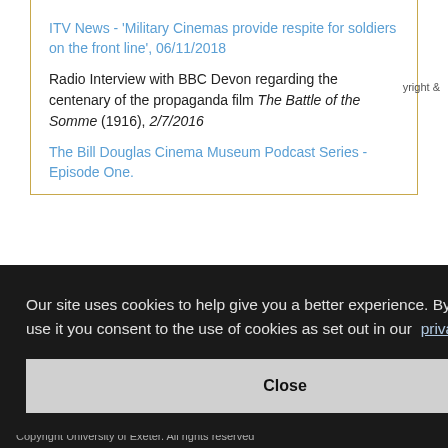ITV News - 'Military Cinemas provide respite for soldiers on the front line', 06/11/2018
Radio Interview with BBC Devon regarding the centenary of the propaganda film The Battle of the Somme (1916), 2/7/2016
The Bill Douglas Cinema Museum Podcast Series - Episode One.
Our site uses cookies to help give you a better experience. By continuing to use it you consent to the use of cookies as set out in our  privacy policy
Close
Copyright University of Exeter. All rights reserved